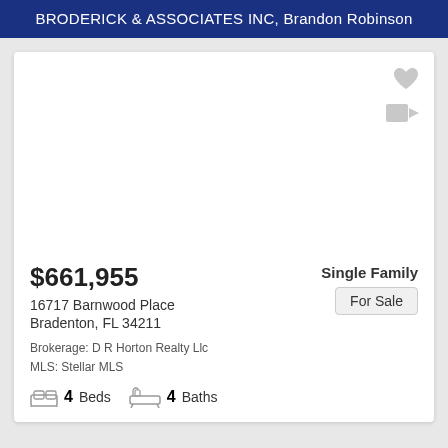BRODERICK & ASSOCIATES INC, Brandon Robinson
[Figure (photo): Property photo placeholder - white/blank area with heart icon and video camera icon]
$661,955
Single Family
For Sale
16717 Barnwood Place
Bradenton, FL 34211
Brokerage: D R Horton Realty Llc
MLS: Stellar MLS
4 Beds   4 Baths